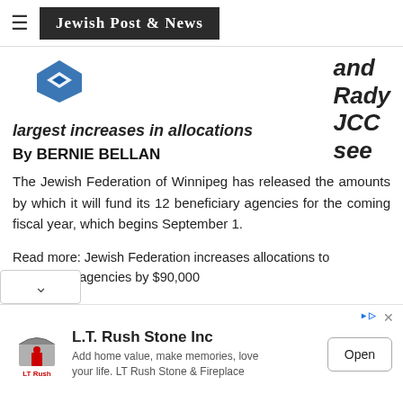Jewish Post & News
[Figure (logo): Jewish Federation of Winnipeg blue logo]
and Rady JCC see
largest increases in allocations
By BERNIE BELLAN
The Jewish Federation of Winnipeg has released the amounts by which it will fund its 12 beneficiary agencies for the coming fiscal year, which begins September 1.
Read more: Jewish Federation increases allocations to beneficiary agencies by $90,000
[Figure (infographic): L.T. Rush Stone Inc advertisement — Add home value, make memories, love your life. LT Rush Stone & Fireplace — Open button]